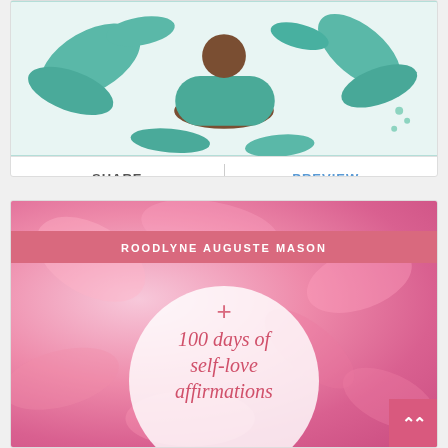[Figure (illustration): Book cover illustration showing a figure in teal/brown tones with tropical leaves, top portion of a webpage card]
SHARE
PREVIEW ›
[Figure (illustration): Book cover for '100 days of self-love affirmations' by Roodlyne Auguste Mason. Pink floral background with a white circle in the center containing a cross symbol and the title in pink cursive text. Author name in white on a pink banner at top.]